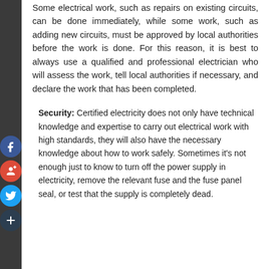Some electrical work, such as repairs on existing circuits, can be done immediately, while some work, such as adding new circuits, must be approved by local authorities before the work is done. For this reason, it is best to always use a qualified and professional electrician who will assess the work, tell local authorities if necessary, and declare the work that has been completed.
Security: Certified electricity does not only have technical knowledge and expertise to carry out electrical work with high standards, they will also have the necessary knowledge about how to work safely. Sometimes it's not enough just to know to turn off the power supply in electricity, remove the relevant fuse and the fuse panel seal, or test that the supply is completely dead.